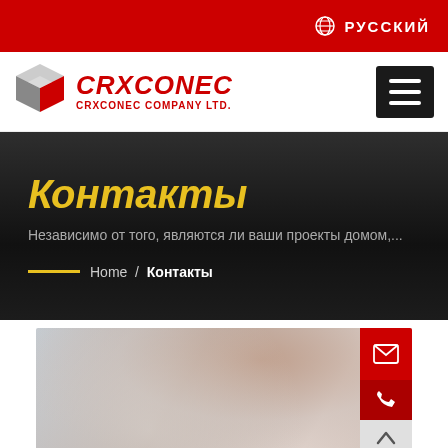РУССКИЙ
[Figure (logo): CRXCONEC company logo with cube icon and red text]
Контакты
Независимо от того, являются ли ваши проекты домом,...
Home / Контакты
[Figure (photo): Blurred photo of a person, partial view, used as background for contacts section]